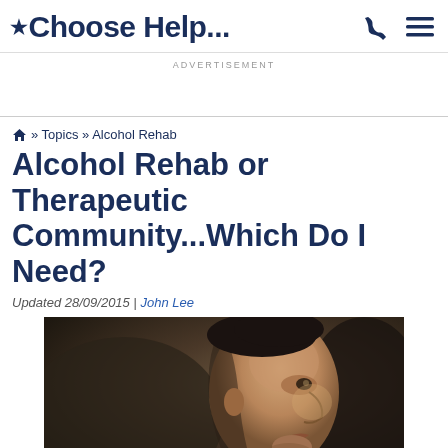*Choose Help...
ADVERTISEMENT
🏠 » Topics » Alcohol Rehab
Alcohol Rehab or Therapeutic Community...Which Do I Need?
Updated 28/09/2015 | John Lee
[Figure (photo): Side profile portrait of a young man looking upward, in a dark dramatic lighting setting]